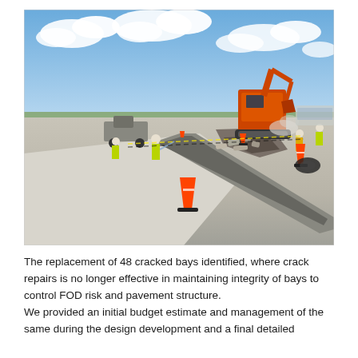[Figure (photo): Construction workers in high-visibility jackets working on airport pavement repair. A large orange excavator is in the background breaking up concrete. Traffic cones are visible, rubble is piled on the apron surface, and a drainage channel runs across the foreground. Clear blue sky with clouds overhead, airport terminal visible in distance.]
The replacement of 48 cracked bays identified, where crack repairs is no longer effective in maintaining integrity of bays to control FOD risk and pavement structure. We provided an initial budget estimate and management of the same during the design development and a final detailed